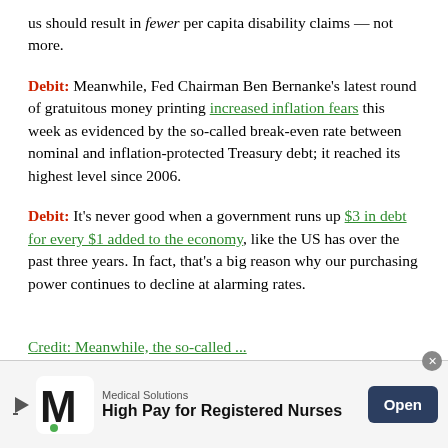us should result in fewer per capita disability claims — not more.
Debit: Meanwhile, Fed Chairman Ben Bernanke's latest round of gratuitous money printing increased inflation fears this week as evidenced by the so-called break-even rate between nominal and inflation-protected Treasury debt; it reached its highest level since 2006.
Debit: It's never good when a government runs up $3 in debt for every $1 added to the economy, like the US has over the past three years. In fact, that's a big reason why our purchasing power continues to decline at alarming rates.
[Figure (infographic): Advertisement banner for Medical Solutions: High Pay for Registered Nurses, with Open button]